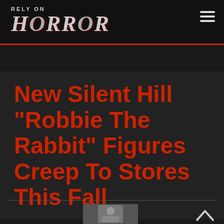RELY ON HORROR
New Silent Hill “Robbie The Rabbit” Figures Creep To Stores This Fall
[Figure (photo): Small thumbnail image of a person, partially visible at bottom of page]
[Figure (other): Back to top arrow chevron icon at bottom right]